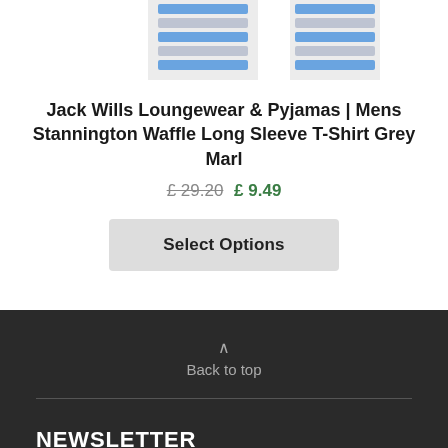[Figure (photo): Partial product images showing striped blue and grey fabric/clothing items, cropped at top of page]
Jack Wills Loungewear & Pyjamas | Mens Stannington Waffle Long Sleeve T-Shirt Grey Marl
£ 29.20 £ 9.49
Select Options
Back to top
NEWSLETTER